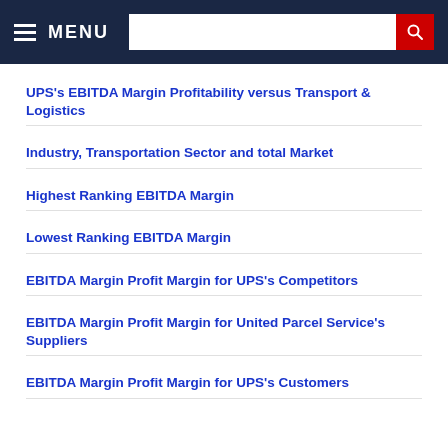MENU [search bar]
UPS's EBITDA Margin Profitability versus Transport & Logistics
Industry, Transportation Sector and total Market
Highest Ranking EBITDA Margin
Lowest Ranking EBITDA Margin
EBITDA Margin Profit Margin for UPS's Competitors
EBITDA Margin Profit Margin for United Parcel Service's Suppliers
EBITDA Margin Profit Margin for UPS's Customers